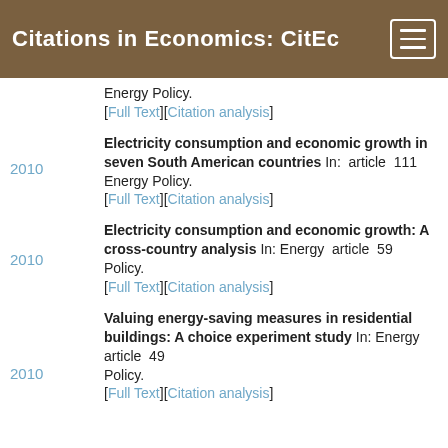Citations in Economics: CitEc
Energy Policy.
[Full Text][Citation analysis]
2010  Electricity consumption and economic growth in seven South American countries In: article 111 Energy Policy.
[Full Text][Citation analysis]
2010  Electricity consumption and economic growth: A cross-country analysis In: Energy article 59 Policy.
[Full Text][Citation analysis]
2010  Valuing energy-saving measures in residential buildings: A choice experiment study In: Energy article 49 Policy.
[Full Text][Citation analysis]